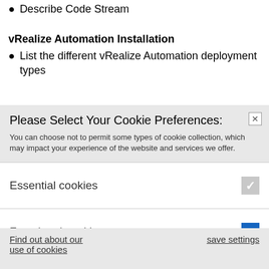Describe Code Stream
vRealize Automation Installation
List the different vRealize Automation deployment types
Please Select Your Cookie Preferences:
You can choose not to permit some types of cookie collection, which may impact your experience of the website and services we offer.
Essential cookies
Functional cookies
Advertising / Third-party cookies
Find out about our use of cookies
save settings